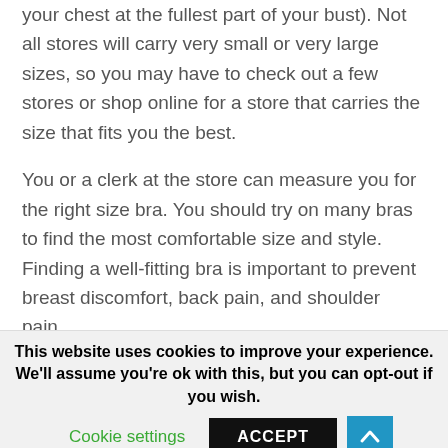your chest at the fullest part of your bust). Not all stores will carry very small or very large sizes, so you may have to check out a few stores or shop online for a store that carries the size that fits you the best.
You or a clerk at the store can measure you for the right size bra. You should try on many bras to find the most comfortable size and style. Finding a well-fitting bra is important to prevent breast discomfort, back pain, and shoulder pain.
This website uses cookies to improve your experience. We'll assume you're ok with this, but you can opt-out if you wish.
Cookie settings
ACCEPT